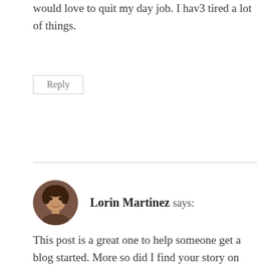would love to quit my day job. I hav3 tired a lot of things.
Reply
Lorin Martinez says:
This post is a great one to help someone get a blog started. More so did I find your story on how you got started motivating. Our personal experiences can usually be what encourages people the most. Thank you.
Reply